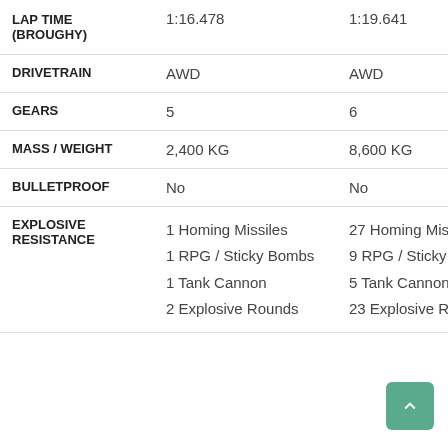|  | Vehicle 1 | Vehicle 2 |
| --- | --- | --- |
| LAP TIME (BROUGHY) | 1:16.478 | 1:19.641 |
| DRIVETRAIN | AWD | AWD |
| GEARS | 5 | 6 |
| MASS / WEIGHT | 2,400 KG | 8,600 KG |
| BULLETPROOF | No | No |
| EXPLOSIVE RESISTANCE | 1 Homing Missiles
1 RPG / Sticky Bombs
1 Tank Cannon
2 Explosive Rounds | 27 Homing Missiles
9 RPG / Sticky Bombs
5 Tank Cannon
23 Explosive Rounds |